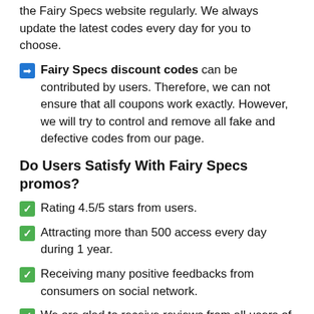the Fairy Specs website regularly. We always update the latest codes every day for you to choose.
Fairy Specs discount codes can be contributed by users. Therefore, we can not ensure that all coupons work exactly. However, we will try to control and remove all fake and defective codes from our page.
Do Users Satisfy With Fairy Specs promos?
Rating 4.5/5 stars from users.
Attracting more than 500 access every day during 1 year.
Receiving many positive feedbacks from consumers on social network.
We are glad to receive reviews from all users of Fairy Specs coupons through our website this page. Your reviews will help improve our services. Your satisfaction is our target!!